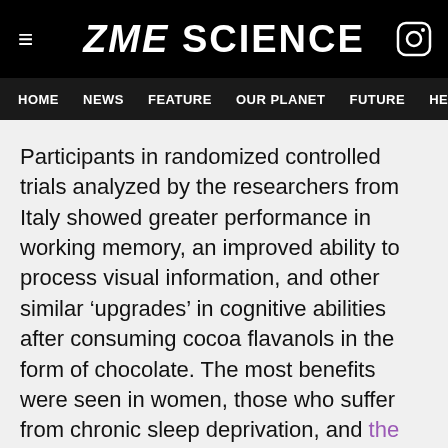ZME SCIENCE
HOME NEWS FEATURE OUR PLANET FUTURE HEALT
Participants in randomized controlled trials analyzed by the researchers from Italy showed greater performance in working memory, an improved ability to process visual information, and other similar ‘upgrades’ in cognitive abilities after consuming cocoa flavanols in the form of chocolate. The most benefits were seen in women, those who suffer from chronic sleep deprivation, and the elderly.
But how exactly does cocoa boost brainpower? Researchers aren’t completely